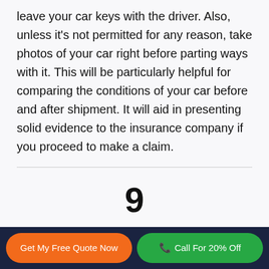leave your car keys with the driver. Also, unless it's not permitted for any reason, take photos of your car right before parting ways with it. This will be particularly helpful for comparing the conditions of your car before and after shipment. It will aid in presenting solid evidence to the insurance company if you proceed to make a claim.
9
Pick up the vehicle at the arranged date and time
Get My Free Quote Now
Call For 20% Off